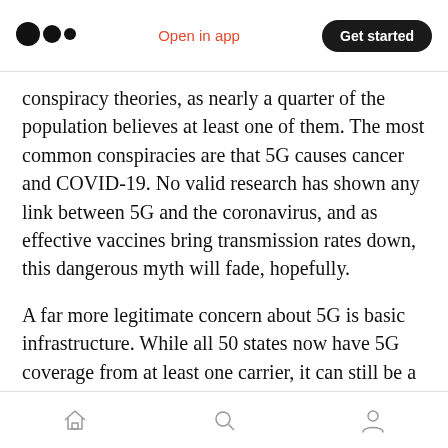[Figure (logo): Medium app logo (three black dots/circles) in top-left navigation bar]
Open in app   Get started
conspiracy theories, as nearly a quarter of the population believes at least one of them. The most common conspiracies are that 5G causes cancer and COVID-19. No valid research has shown any link between 5G and the coronavirus, and as effective vaccines bring transmission rates down, this dangerous myth will fade, hopefully.
A far more legitimate concern about 5G is basic infrastructure. While all 50 states now have 5G coverage from at least one carrier, it can still be a patchwork outside major cities and towns. Plus
[Figure (infographic): Bottom navigation bar with home, search, and profile icons]